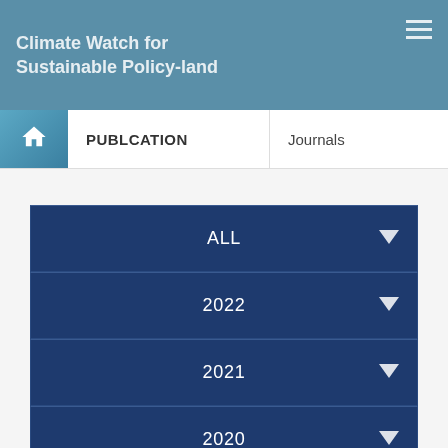Climate Watch for Sustainable Policy-land
PUBLCATION
Journals
ALL
2022
2021
2020
2019
2018
2017